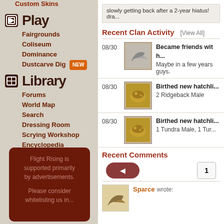Custom Skins
Play
Fairgrounds
Coliseum
Dominance
Dustcarve Dig NEW
Library
Forums
World Map
Search
Dressing Room
Scrying Workshop
Encyclopedia
Media
Support
Flight Rising is supported primarily by advertisements. Please consider whitelisting us in...
slowly getting back after a 2-year hiatus! dra...
Recent Clan Activity
[View All]
08/30 Became friends with... Maybe in a few years guys.
08/30 Birthed new hatchli... 2 Ridgeback Male
08/30 Birthed new hatchli... 1 Tundra Male, 1 Tur...
Recent Comments
1
Sparce wrote: